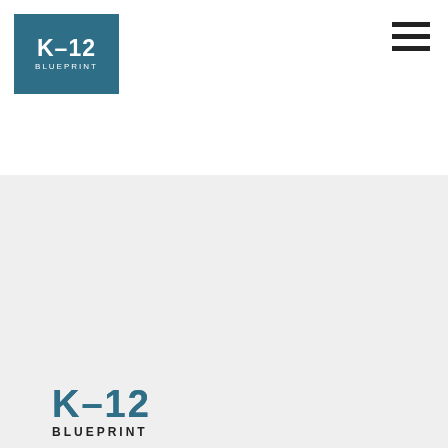[Figure (logo): K-12 Blueprint logo in white text on dark teal/blue square background]
[Figure (other): Hamburger menu icon with three horizontal black lines]
[Figure (logo): K-12 Blueprint logo large version in dark teal gradient with bold K-12 text and BLUEPRINT below]
Links
About
Contact
Login
Social
RSS
Twitter